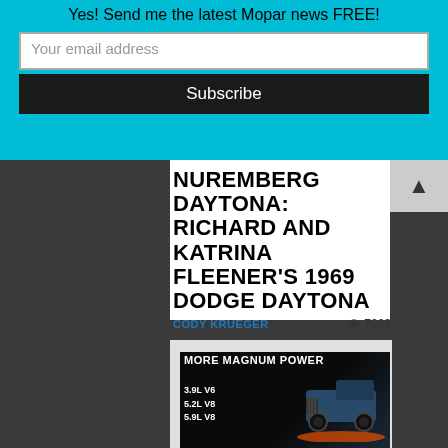Yes! Send me the latest Mopar news FREE!
Your email address
Subscribe
NUREMBERG DAYTONA: RICHARD AND KATRINA FLEENER'S 1969 DODGE DAYTONA
CODY KRUEGER
7023
[Figure (illustration): Advertisement for Mopar Magnum engine performance parts showing a Dodge truck with text 'MORE MAGNUM POWER' and engine options '3.9L V6, 5.2L V8, 5.9L V8']